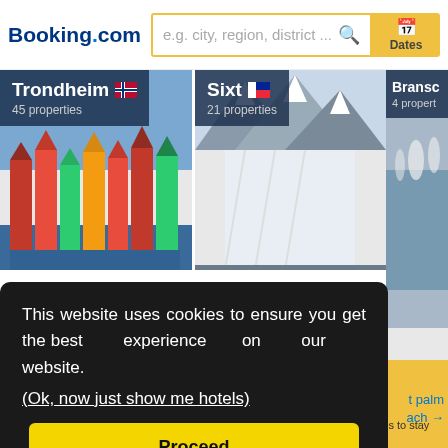[Figure (screenshot): Booking.com website screenshot showing header with logo, search box, Dates button, destination cards for Trondheim (45 properties, Double from $57), Sixt (21 properties, Double from $59), Bransc... (4 properties), and a cookie consent overlay with 'Proceed' button.]
Booking.com
e.g. city, region, district ...
Dates
Trondheim 45 properties
Double from $57
Sixt 21 properties
Double from $59
Bransc... 4 properties
This website uses cookies to ensure you get the best experience on our website. (Ok, now just show me hotels)
Proceed